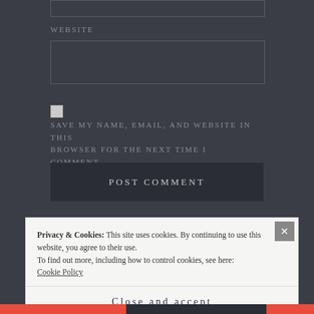WEBSITE
SAVE MY NAME, EMAIL, AND WEBSITE IN THIS BROWSER FOR THE NEXT TIME I COMMENT.
POST COMMENT
Privacy & Cookies: This site uses cookies. By continuing to use this website, you agree to their use.
To find out more, including how to control cookies, see here: Cookie Policy
Close and accept